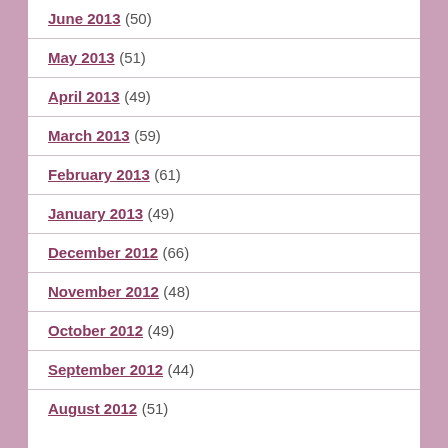June 2013 (50)
May 2013 (51)
April 2013 (49)
March 2013 (59)
February 2013 (61)
January 2013 (49)
December 2012 (66)
November 2012 (48)
October 2012 (49)
September 2012 (44)
August 2012 (51)